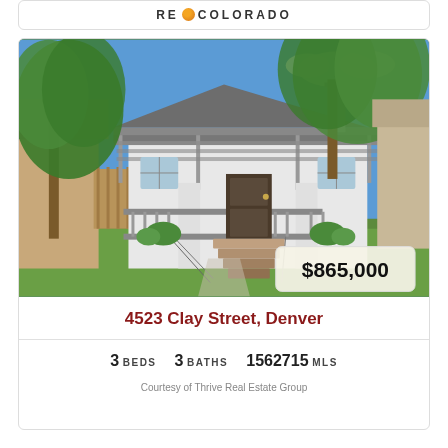[Figure (logo): RE/COLORADO logo with orange dot between RE and COLORADO text]
[Figure (photo): Exterior photo of a craftsman-style house at 4523 Clay Street Denver with green trees, front porch with railings, steps, lawn, and a price badge showing $865,000]
4523 Clay Street, Denver
3 BEDS   3 BATHS   1562715 MLS
Courtesy of Thrive Real Estate Group